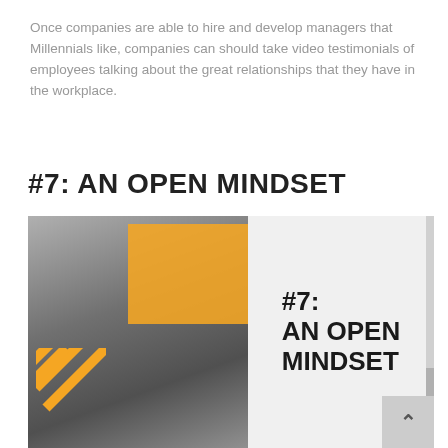Once companies are able to hire and develop managers that Millennials like, companies can should take video testimonials of employees talking about the great relationships that they have in the workplace.
#7: AN OPEN MINDSET
[Figure (photo): A composite image with a grayscale construction/industrial photo on the left (person working on scaffolding), an orange/yellow rectangle overlay in the upper center, diagonal yellow stripes in the lower left, and a light gray panel on the right with bold text reading '#7: AN OPEN MINDSET'.]